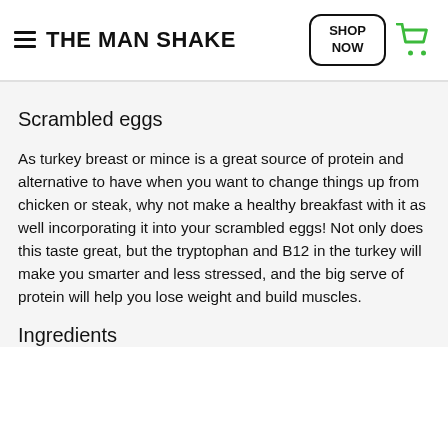THE MAN SHAKE | SHOP NOW
Scrambled eggs
As turkey breast or mince is a great source of protein and alternative to have when you want to change things up from chicken or steak, why not make a healthy breakfast with it as well incorporating it into your scrambled eggs! Not only does this taste great, but the tryptophan and B12 in the turkey will make you smarter and less stressed, and the big serve of protein will help you lose weight and build muscles.
Ingredients